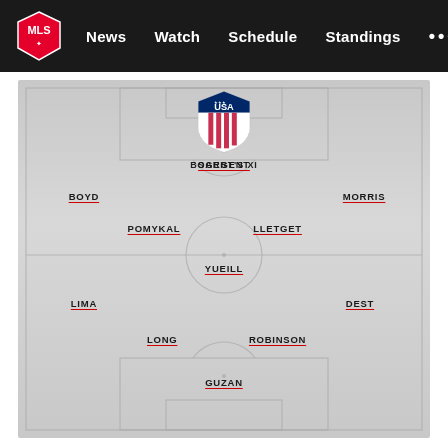MLS — News  Watch  Schedule  Standings  ...
[Figure (infographic): Soccer lineup formation diagram showing BOGERT'S XI with USA national team crest. Players listed: SARGENT (forward), BOYD and MORRIS (wingers), POMYKAL and LLETGET (midfielders), YUEILL (defensive mid), LIMA and DEST (fullbacks), LONG and ROBINSON (center backs), GUZAN (goalkeeper).]